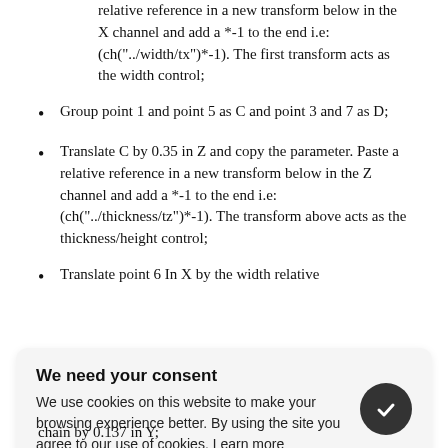relative reference in a new transform below in the X channel and add a *-1 to the end i.e: (ch("../width/tx")*-1). The first transform acts as the width control;
Group point 1 and point 5 as C and point 3 and 7 as D;
Translate C by 0.35 in Z and copy the parameter. Paste a relative reference in a new transform below in the Z channel and add a *-1 to the end i.e: (ch("../thickness/tz")*-1). The transform above acts as the thickness/height control;
Translate point 6 In X by the width relative
[Figure (screenshot): Cookie consent banner with title 'We need your consent', body text about cookies and a dark round button with a checkmark icon]
chain by 0.137 in Y;